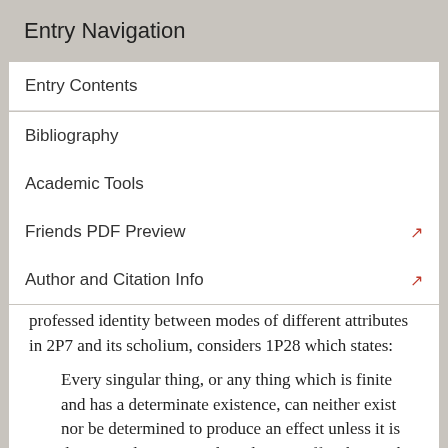Entry Navigation
Entry Contents
Bibliography
Academic Tools
Friends PDF Preview
Author and Citation Info
professed identity between modes of different attributes in 2P7 and its scholium, considers 1P28 which states:
Every singular thing, or any thing which is finite and has a determinate existence, can neither exist nor be determined to produce an effect unless it is determined to exist and produce an effect by another cause, which is also finite and has a determinate existence; and again, this cause also can neither exist nor be determined to produce an effect unless it is determined to exist and produce an effect by another,